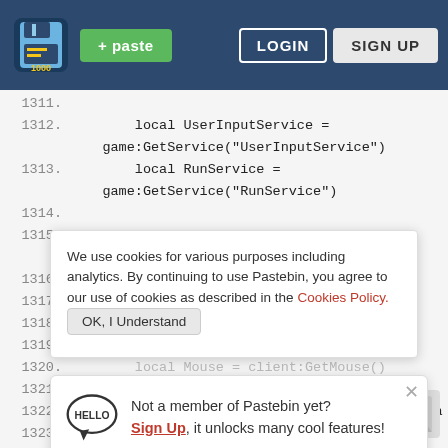[Figure (screenshot): Pastebin website header with logo, green paste button, LOGIN and SIGN UP buttons on dark blue background]
1311.
1312.    local UserInputService =
         game:GetService("UserInputService")
1313.    local RunService =
         game:GetService("RunService")
1314.
1315.    ga
1316.
1317.
1318.
1319.
1320.    local Mouse = client:GetMouse()
1321.
1322.    local Camera = workspace.CurrentCamera
1323.    local CameraPort = Camera.CFrame
1324.
We use cookies for various purposes including analytics. By continuing to use Pastebin, you agree to our use of cookies as described in the Cookies Policy.
Not a member of Pastebin yet? Sign Up, it unlocks many cool features!